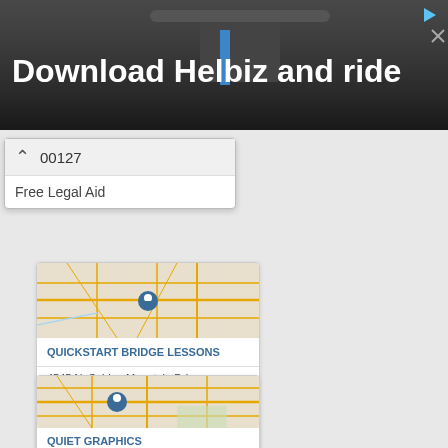[Figure (photo): Advertisement banner for Helbiz scooter app showing a dark background with handlebars, text 'Download Helbiz and ride' in white bold font]
00127
Free Legal Aid
[Figure (map): Street map of Tucson, AZ area with orange road lines on beige background, blue location pin marker in center]
QUICKSTART BRIDGE LESSONS
4545 N. Sabino Mountain Drive
Tucson, AZ, 85750
5207331373
Math Tutoring
Teacher Supplies
[Figure (map): Street map of Tucson, AZ area with orange road lines on beige background, blue location pin marker in center]
QUIET GRAPHICS